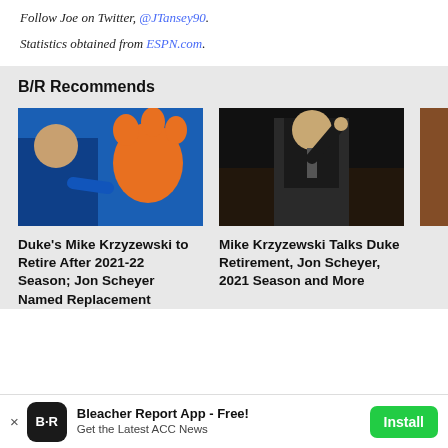Follow Joe on Twitter, @JTansey90.
Statistics obtained from ESPN.com.
B/R Recommends
[Figure (photo): Basketball coach in blue jacket pointing, with Clemson tiger paw logo in background]
[Figure (photo): Basketball coach in dark suit pointing upward on court]
[Figure (photo): Partial third image, cropped at right edge]
Duke's Mike Krzyzewski to Retire After 2021-22 Season; Jon Scheyer Named Replacement
Mike Krzyzewski Talks Duke Retirement, Jon Scheyer, 2021 Season and More
Bleacher Report App - Free! Get the Latest ACC News